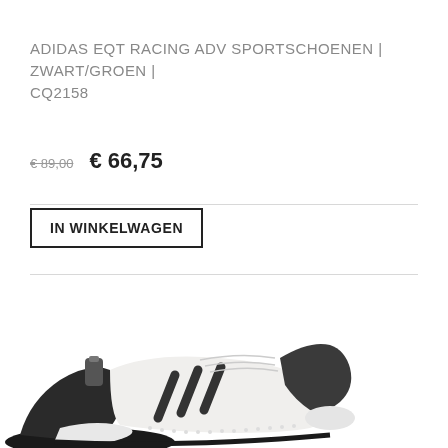ADIDAS EQT RACING ADV SPORTSCHOENEN | ZWART/GROEN | CQ2158
€ 89,00  € 66,75
IN WINKELWAGEN
[Figure (photo): Adidas EQT Racing ADV sneaker in white/black colorway, viewed from side angle, partially cropped at bottom of image]